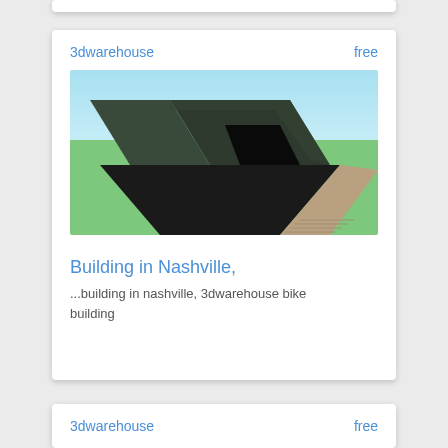3dwarehouse    free
[Figure (illustration): 3D SketchUp model of a building in Nashville — dark angular structure with a sloped black driveway/ramp, green ground plane, light blue sky background]
Building in Nashville,
...building in nashville, 3dwarehouse bike building
3dwarehouse    free